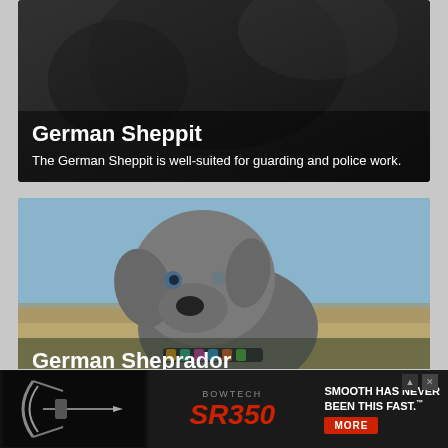[Figure (photo): Photo of a dark-colored dog (German Sheppit) in a dark background]
German Sheppit
The German Sheppit is well-suited for guarding and police work.
[Figure (photo): Photo of a grey/blue puppy (German Sheprador) with a colorful collar against a grassy background]
German Sheprador
There is a chance that the German Sheprador may inherit a love for wa...
[Figure (other): Advertisement banner for Bowtech SR350 bow - text reads SMOOTH HAS NEVER BEEN THIS FAST with MORE button]